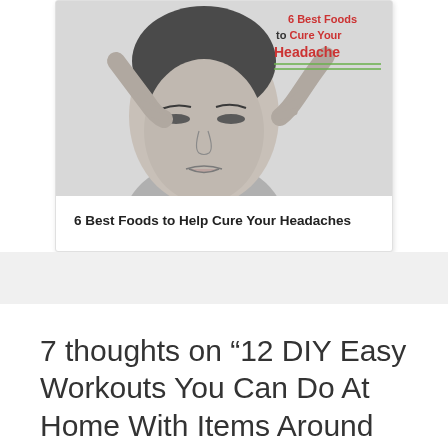[Figure (photo): Black and white photo of a woman pressing her fingers to her temples, appearing to have a headache, with text overlay reading '6 Best Foods to Cure Your Headache']
6 Best Foods to Help Cure Your Headaches
7 thoughts on “12 DIY Easy Workouts You Can Do At Home With Items Around the House”